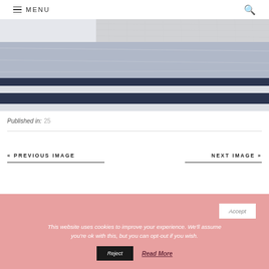≡ MENU 🔍
[Figure (photo): Close-up photo of a bed with white and navy striped bedding/duvet and a gray knit throw blanket folded on top, with a dark wooden headboard visible in the background.]
Published in: 25
« PREVIOUS IMAGE
NEXT IMAGE »
This website uses cookies to improve your experience. We'll assume you're ok with this, but you can opt-out if you wish. Accept Reject Read More